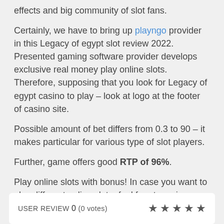effects and big community of slot fans.
Certainly, we have to bring up playngo provider in this Legacy of egypt slot review 2022. Presented gaming software provider develops exclusive real money play online slots. Therefore, supposing that you look for Legacy of egypt casino to play – look at logo at the footer of casino site.
Possible amount of bet differs from 0.3 to 90 – it makes particular for various type of slot players.
Further, game offers good RTP of 96%.
Play online slots with bonus! In case you want to play different online slot – feel free to revise our directory of online slot machines.
USER REVIEW 0 (0 votes) ★★★★★